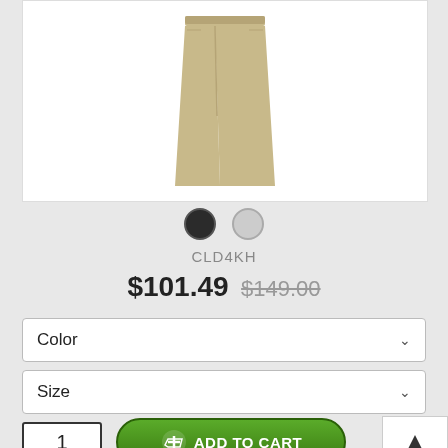[Figure (photo): Product photo of khaki/tan wide-leg pants on a white background]
CLD4KH
$101.49  $149.00
Color
Size
1
ADD TO CART
TOP